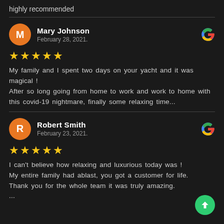highly recommended
Mary Johnson
February 28, 2021.
★★★★★
My family and I spent two days on your yacht and it was magical !
After so long going from home to work and work to home with this covid-19 nightmare, finally some relaxing time...
Robert Smith
February 23, 2021.
★★★★★
I can't believe how relaxing and luxurious today was !
My entire family had ablast, you got a customer for life.
Thank you for the whole team it was truly amazing.
...